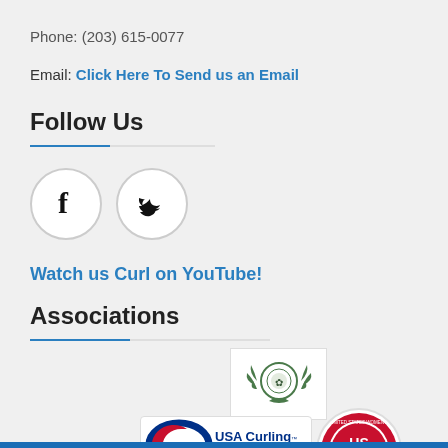Phone: (203) 615-0077
Email: Click Here To Send us an Email
Follow Us
[Figure (illustration): Facebook and Twitter social media icons as circular buttons]
Watch us Curl on YouTube!
Associations
[Figure (logo): Green wreath/crest association logo]
[Figure (logo): USA Curling dare to curl logo]
[Figure (logo): USWCA United States Women's Curling Association circular logo]